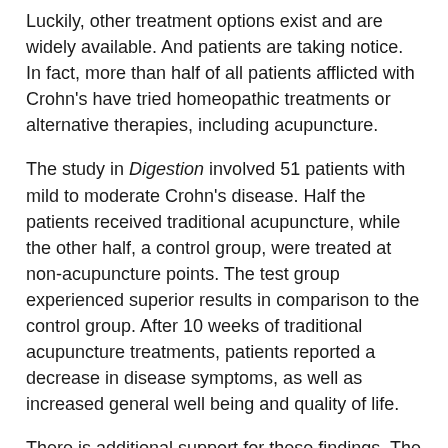Luckily, other treatment options exist and are widely available. And patients are taking notice. In fact, more than half of all patients afflicted with Crohn’s have tried homeopathic treatments or alternative therapies, including acupuncture.
The study in Digestion involved 51 patients with mild to moderate Crohn’s disease. Half the patients received traditional acupuncture, while the other half, a control group, were treated at non-acupuncture points. The test group experienced superior results in comparison to the control group. After 10 weeks of traditional acupuncture treatments, patients reported a decrease in disease symptoms, as well as increased general well being and quality of life.
There is additional support for these findings. The University of Berne in Switzerland reported that nearly half of all local patients with inflammatory bowel disease have used alternative treatments and that more than 60% of them